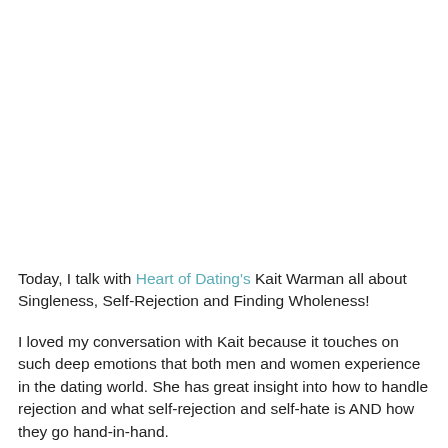Today, I talk with Heart of Dating's Kait Warman all about Singleness, Self-Rejection and Finding Wholeness!
I loved my conversation with Kait because it touches on such deep emotions that both men and women experience in the dating world. She has great insight into how to handle rejection and what self-rejection and self-hate is AND how they go hand-in-hand.